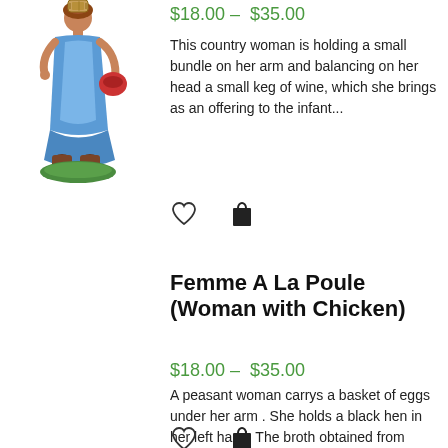[Figure (photo): Ceramic figurine of a country woman in a blue dress holding a red bag, balancing a keg on her head, standing on a green base]
$18.00 – $35.00
This country woman is holding a small bundle on her arm and balancing on her head a small keg of wine, which she brings as an offering to the infant...
[Figure (other): Heart (wishlist) icon and shopping bag icon]
Femme A La Poule (Woman with Chicken)
$18.00 – $35.00
A peasant woman carrys a basket of eggs under her arm . She holds a black hen in her left hand. The broth obtained from stewing a black hen is traditionally...
[Figure (other): Heart (wishlist) icon and shopping bag icon]